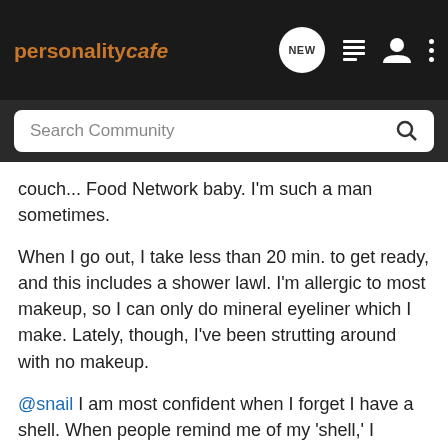personalitycafe — NEW [nav icons]
Search Community
couch... Food Network baby. I'm such a man sometimes.
When I go out, I take less than 20 min. to get ready, and this includes a shower lawl. I'm allergic to most makeup, so I can only do mineral eyeliner which I make. Lately, though, I've been strutting around with no makeup.
@snail I am most confident when I forget I have a shell. When people remind me of my 'shell,' I actually become self-conscious. I don't place too much importance on my looks... And when people allude to my looks, I feel rather, "Oh yeah, that."
I do, however, buy clothes I think are 'cute.' I change my style a lot... It's rather spontaneous how I go about this too. I walk